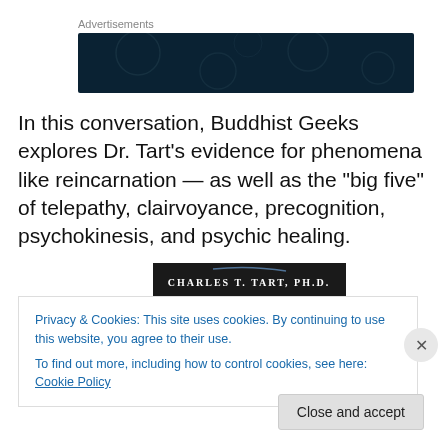Advertisements
[Figure (other): Dark teal advertisement banner with circular dot pattern]
In this conversation, Buddhist Geeks explores Dr. Tart’s evidence for phenomena like reincarnation — as well as the “big five” of telepathy, clairvoyance, precognition, psychokinesis, and psychic healing.
[Figure (other): Black banner reading CHARLES T. TART, PH.D. in white serif text with decorative arc]
Privacy & Cookies: This site uses cookies. By continuing to use this website, you agree to their use.
To find out more, including how to control cookies, see here: Cookie Policy
Close and accept